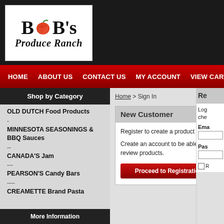[Figure (logo): Bob's Produce Ranch logo with apple graphic, black and white on white background]
Home | About Us | Contact Us | My Account | View Cart/Checkout
Shop by Category
OLD DUTCH Food Products
-
MINNESOTA SEASONINGS & BBQ Sauces
--
CANADA'S Jam
---
PEARSON'S Candy Bars
----
CREAMETTE Brand Pasta
More Information
Home > Sign In
New Customer
Register to create a product review.
Create an account to be able to review products.
Proceed to Registration
Re
Log che
Ema
Pas